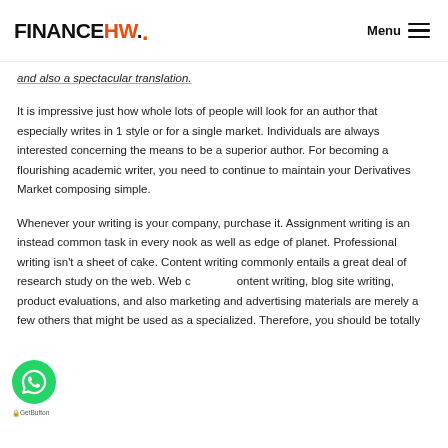FINANCEHW. Menu
and also a spectacular translation.
It is impressive just how whole lots of people will look for an author that especially writes in 1 style or for a single market. Individuals are always interested concerning the means to be a superior author. For becoming a flourishing academic writer, you need to continue to maintain your Derivatives Market composing simple.
Whenever your writing is your company, purchase it. Assignment writing is an instead common task in every nook as well as edge of planet. Professional writing isn't a sheet of cake. Content writing commonly entails a great deal of research study on the web. Web content writing, blog site writing, product evaluations, and also marketing and advertising materials are merely a few others that might be used as a specialized. Therefore, you should be totally